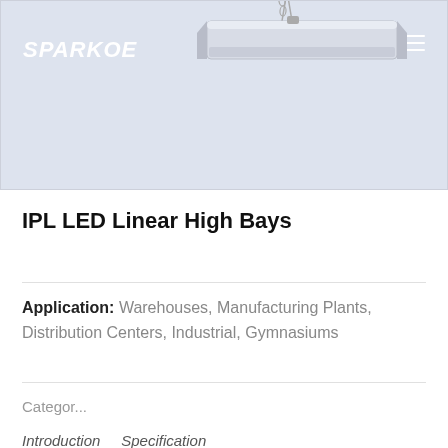[Figure (photo): Product photo of an IPL LED Linear High Bay light fixture suspended by chains, shown against a light blue-grey background with the SPARKOE logo in the top left and a hamburger menu icon in the top right]
IPL LED Linear High Bays
Application: Warehouses, Manufacturing Plants, Distribution Centers, Industrial, Gymnasiums
Categor...
Introduction    Specification